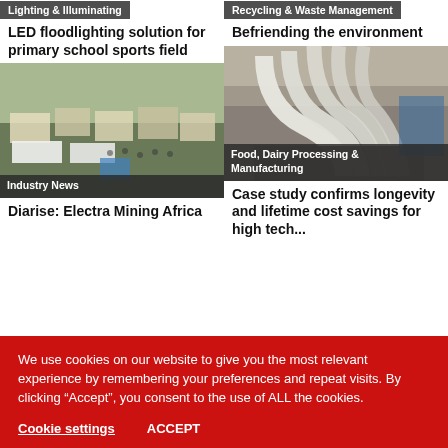Lighting & Illuminating
LED floodlighting solution for primary school sports field
Recycling & Waste Management
Befriending the environment
[Figure (photo): Aerial view of outdoor exhibition/trade show with tents and vehicles]
Industry News
Diarise: Electra Mining Africa
[Figure (photo): Industrial machinery with white curved tubes/pipes]
Food, Dairy Processing & Manufacturing
Case study confirms longevity and lifetime cost savings for high tech...
We use cookies on our website to give you the most relevant experience by remembering your preferences and repeat visits. By clicking “Accept”, you consent to the use of ALL the cookies.
Cookie settings
ACCEPT